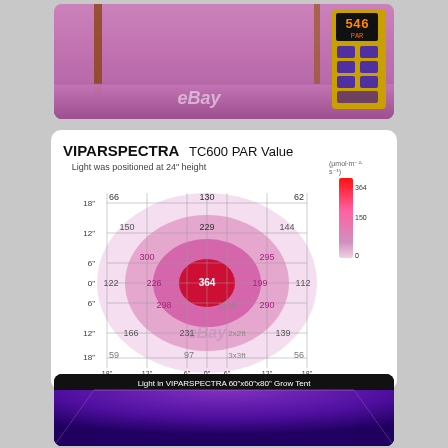[Figure (photo): Photo of grow tent interior with pink/purple LED lighting, showing reflective mylar walls and a light meter device on the right showing a reading. eBay watermark visible.]
[Figure (infographic): VIPARSPECTRA TC600 PAR Value diagram showing light intensity in µmol/m²/s at 24 inch height. Concentric colored zones from red (center, 364) through pink to light pink (edges). Grid shows PAR values at various positions: center 364, surrounding values 300/295, 229, 226/199, 150/144, 130, 122/112, 66/62 at outer positions. Row labels 18, 12, 6, 0 inches on sides. Bottom labels 1x1ft, 2x2ft, 3x3ft footprint zones. X-axis: 18, 12, 6, 0, 6, 12, 18 inches. Legend bar shows 0-150-300-364 µmol/m²/s scale.]
[Figure (photo): Photo of light inside VIPARSPECTRA 60x60x80 Grow Tent showing purple LED lighting illuminating the interior of a dark grow tent.]